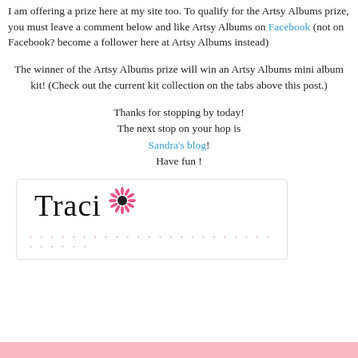I am offering a prize here at my site too. To qualify for the Artsy Albums prize, you must leave a comment below and like Artsy Albums on Facebook (not on Facebook? become a follower here at Artsy Albums instead)
The winner of the Artsy Albums prize will win an Artsy Albums mini album kit! (Check out the current kit collection on the tabs above this post.)
Thanks for stopping by today!
The next stop on your hop is
Sandra's blog!
Have fun !
[Figure (illustration): A signature image showing 'Traci' in cursive script with a decorative sunflower/starburst icon in pink, followed by a dotted line in pink below the name, all inside a rounded rectangle border.]